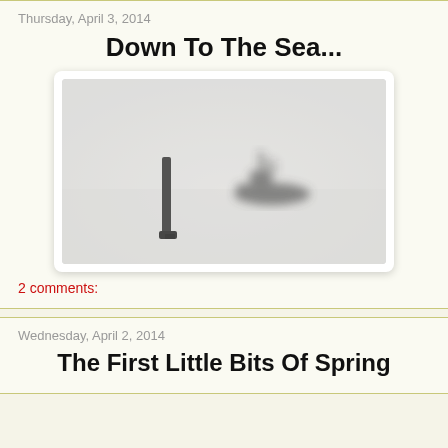Thursday, April 3, 2014
Down To The Sea...
[Figure (photo): A foggy maritime scene with a dark piling or post in the foreground left and a faint ship silhouette in the misty background center-right.]
2 comments:
Wednesday, April 2, 2014
The First Little Bits Of Spring